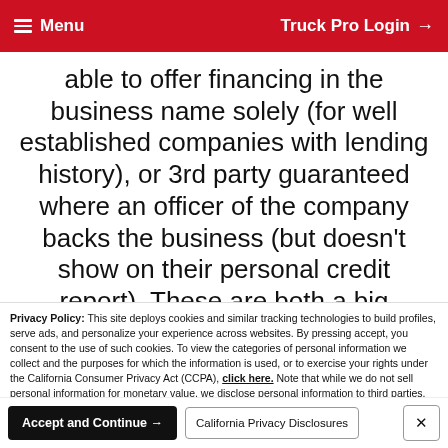Menu   Truck Pro Login
able to offer financing in the business name solely (for well established companies with lending history), or 3rd party guaranteed where an officer of the company backs the business (but doesn't show on their personal credit report). These are both a big advantage over financing company
Privacy Policy: This site deploys cookies and similar tracking technologies to build profiles, serve ads, and personalize your experience across websites. By pressing accept, you consent to the use of such cookies. To view the categories of personal information we collect and the purposes for which the information is used, or to exercise your rights under the California Consumer Privacy Act (CCPA), click here. Note that while we do not sell personal information for monetary value, we disclose personal information to third parties, such as vehicle manufacturers, in such a way that may be considered a "sale" of personal information under the CCPA. To direct us to stop the sale of your personal information, or to re-access these settings or disclosures at anytime, click the following icon or link:
Do Not Sell My Personal Information
Language: English   Powered by ComplyAuto
Accept and Continue →   California Privacy Disclosures   ×